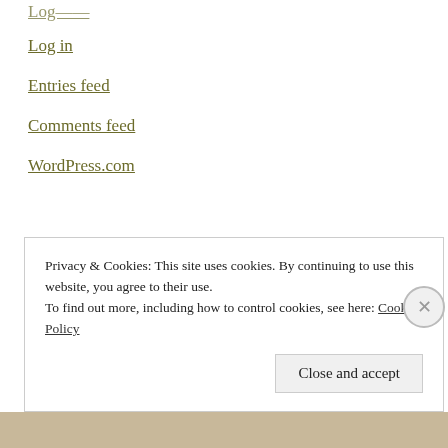Log in
Entries feed
Comments feed
WordPress.com
Privacy & Cookies: This site uses cookies. By continuing to use this website, you agree to their use.
To find out more, including how to control cookies, see here: Cookie Policy
Close and accept